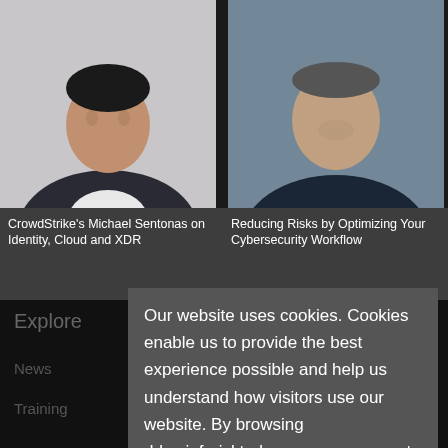[Figure (photo): Headshot of CrowdStrike's Michael Sentonas, a man in a dark suit with white shirt, against a light grey background]
[Figure (photo): Headshot of a man in a dark blue t-shirt, smiling, against a blue-grey background]
CrowdStrike's Michael Sentonas on Identity, Cloud and XDR
Reducing Risks by Optimizing Your Cybersecurity Workflow
Our website uses cookies. Cookies enable us to provide the best experience possible and help us understand how visitors use our website. By browsing ddos.inforisktoday.com, you agree to our use of cookies.
Explore
About
News
Editorial
Training
Board of Advisers